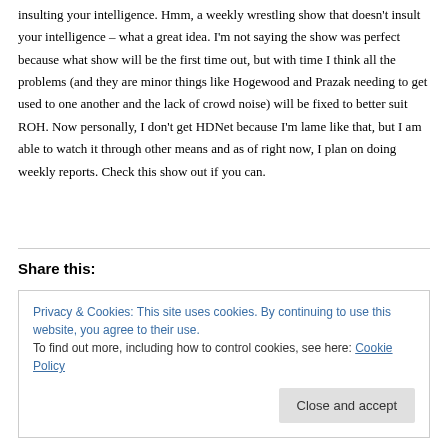insulting your intelligence. Hmm, a weekly wrestling show that doesn't insult your intelligence – what a great idea. I'm not saying the show was perfect because what show will be the first time out, but with time I think all the problems (and they are minor things like Hogewood and Prazak needing to get used to one another and the lack of crowd noise) will be fixed to better suit ROH. Now personally, I don't get HDNet because I'm lame like that, but I am able to watch it through other means and as of right now, I plan on doing weekly reports. Check this show out if you can.
Share this:
Privacy & Cookies: This site uses cookies. By continuing to use this website, you agree to their use. To find out more, including how to control cookies, see here: Cookie Policy